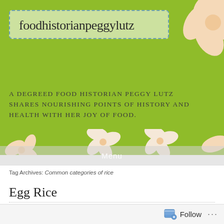foodhistorianpeggylutz
A DEGREED FOOD HISTORIAN PEGGY LUTZ SHARES NOURISHING POINTS OF HISTORY AND HEALTH WITH HER JOY OF FOOD.
Menu
Tag Archives: Common categories of rice
Egg Rice
AUGUST 7, 2021  20TH CENTURY INDIAN RECIPES, EGG DISHES, GHEE RECIPE, GLUTEN-FREE ENTREES  LEAVE A COMMENT
Follow ...